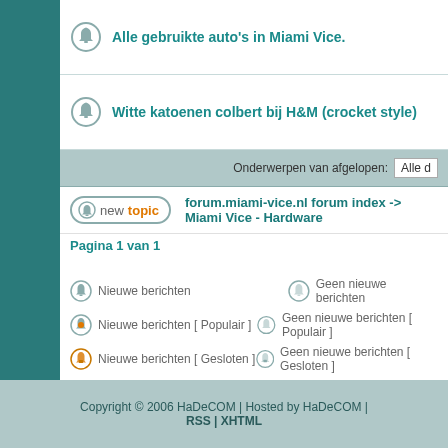Alle gebruikte auto's in Miami Vice.
Witte katoenen colbert bij H&M (crocket style)
Onderwerpen van afgelopen: Alle d
new topic   forum.miami-vice.nl forum index -> Miami Vice - Hardware
Pagina 1 van 1
Nieuwe berichten
Geen nieuwe berichten
Nieuwe berichten [ Populair ]
Geen nieuwe berichten [ Populair ]
Nieuwe berichten [ Gesloten ]
Geen nieuwe berichten [ Gesloten ]
Powered by phpBB © 2001,
Copyright © 2006 HaDeCOM | Hosted by HaDeCOM | RSS | XHTML